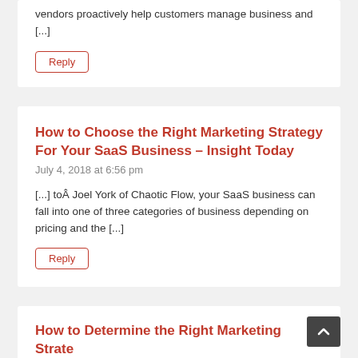vendors proactively help customers manage business and [...]
Reply
How to Choose the Right Marketing Strategy For Your SaaS Business – Insight Today
July 4, 2018 at 6:56 pm
[...] toÂ Joel York of Chaotic Flow, your SaaS business can fall into one of three categories of business depending on pricing and the [...]
Reply
How to Determine the Right Marketing Strate